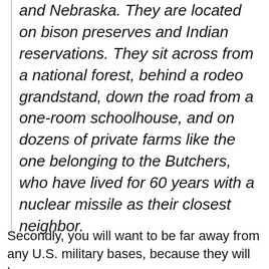and Nebraska. They are located on bison preserves and Indian reservations. They sit across from a national forest, behind a rodeo grandstand, down the road from a one-room schoolhouse, and on dozens of private farms like the one belonging to the Butchers, who have lived for 60 years with a nuclear missile as their closest neighbor.
Secondly, you will want to be far away from any U.S. military bases, because they will be